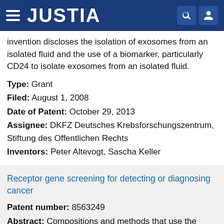JUSTIA
invention discloses the isolation of exosomes from an isolated fluid and the use of a biomarker, particularly CD24 to isolate exosomes from an isolated fluid.
Type: Grant
Filed: August 1, 2008
Date of Patent: October 29, 2013
Assignee: DKFZ Deutsches Krebsforschungszentrum, Stiftung des Offentlichen Rechts
Inventors: Peter Altevogt, Sascha Keller
Receptor gene screening for detecting or diagnosing cancer
Patent number: 8563249
Abstract: Compositions and methods that use the body's natural secretory immune system in a new way against steroid hormone responsive tumors of the